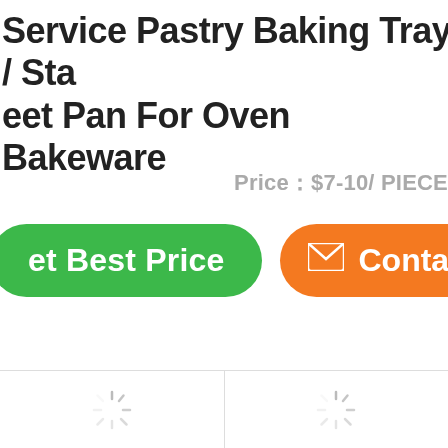Service Pastry Baking Tray / Sta eet Pan For Oven Bakeware
Price：$7-10/ PIECE
[Figure (screenshot): Two call-to-action buttons: a green rounded button labeled 'et Best Price' (Get Best Price, partially cropped) and an orange rounded button with an envelope icon labeled 'Contac' (Contact, partially cropped)]
[Figure (screenshot): Two image loading placeholder cells with spinner icons, separated by a vertical divider line]